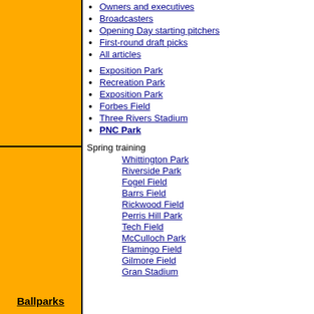Owners and executives
Broadcasters
Opening Day starting pitchers
First-round draft picks
All articles
Exposition Park
Recreation Park
Exposition Park
Forbes Field
Three Rivers Stadium
PNC Park
Spring training
Whittington Park
Riverside Park
Fogel Field
Barrs Field
Rickwood Field
Perris Hill Park
Tech Field
McCulloch Park
Flamingo Field
Gilmore Field
Gran Stadium
Ballparks